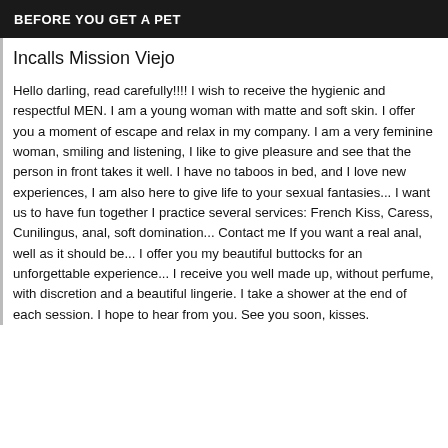BEFORE YOU GET A PET
Incalls Mission Viejo
Hello darling, read carefully!!!! I wish to receive the hygienic and respectful MEN. I am a young woman with matte and soft skin. I offer you a moment of escape and relax in my company. I am a very feminine woman, smiling and listening, I like to give pleasure and see that the person in front takes it well. I have no taboos in bed, and I love new experiences, I am also here to give life to your sexual fantasies... I want us to have fun together I practice several services: French Kiss, Caress, Cunilingus, anal, soft domination... Contact me If you want a real anal, well as it should be... I offer you my beautiful buttocks for an unforgettable experience... I receive you well made up, without perfume, with discretion and a beautiful lingerie. I take a shower at the end of each session. I hope to hear from you. See you soon, kisses.